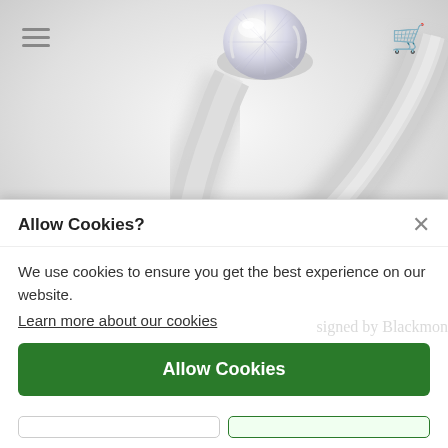[Figure (photo): A diamond solitaire engagement ring with a round brilliant-cut diamond in a white gold or platinum prong setting, photographed on a white background. The ring band curves elegantly. Background shows a faint watermark and hamburger menu and cart icons from a website header.]
Allow Cookies?
We use cookies to ensure you get the best experience on our website.
Learn more about our cookies
Allow Cookies